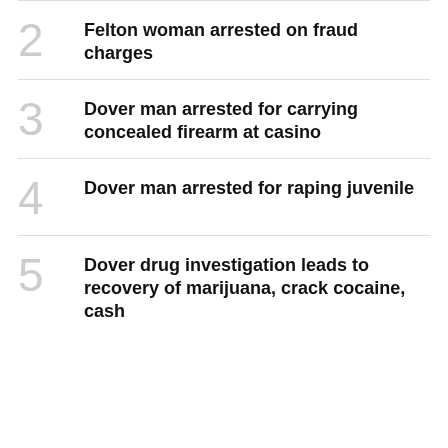2 Felton woman arrested on fraud charges
3 Dover man arrested for carrying concealed firearm at casino
4 Dover man arrested for raping juvenile
5 Dover drug investigation leads to recovery of marijuana, crack cocaine, cash